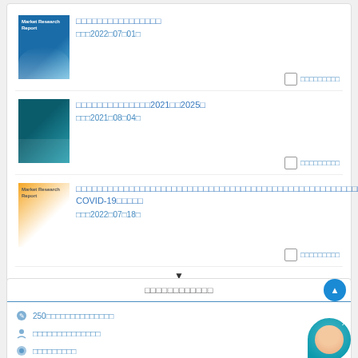□□□□□□□□□□□□□□□□ □□□2022□07□01□
□□□□□□□□□□□□□□2021□□2025□ □□□2021□08□04□
□□□□□□□□□□□□□□□□□□□□□□□□□□□□□□□□□□□□□□□□□□□□□□□□□□□□□□□□□□□□□□□□□□□-2027□□□□□□□-COVID-19□□□□□ □□□2022□07□18□
▼
□□□□□□□□□□□□
250□□□□□□□□□□□□□□
□□□□□□□□□□□□□□
□□□□□□□□□